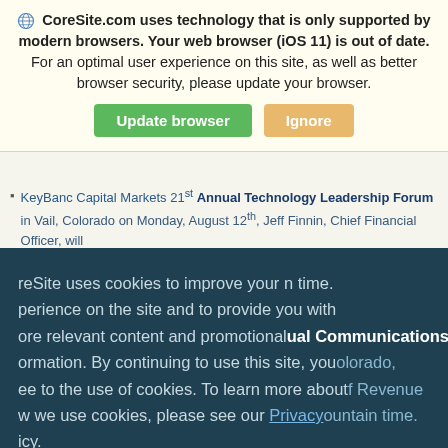CoreSite.com uses technology that is only supported by modern browsers. Your web browser (iOS 11) is out of date. For an optimal user experience on this site, as well as better browser security, please update your browser.
Update browser | Ignore
KeyBanc Capital Markets 21st Annual Technology Leadership Forum in Vail, Colorado on Monday, August 12th, Jeff Finnin, Chief Financial Officer, will present at mountain time.
CoreSite uses cookies to improve your experience on the site and to provide you with more relevant content and promotional information. By continuing to use this site, you agree to the use of cookies. To learn more about how we use cookies, please see our Privacy Policy.
Investors interested in listening to the live presentation may access the webcast from the